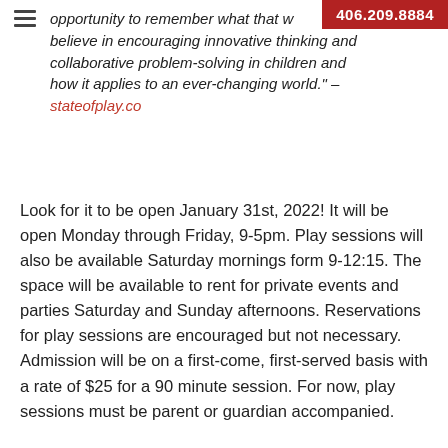406.209.8884
opportunity to remember what that w... believe in encouraging innovative thinking and collaborative problem-solving in children and how it applies to an ever-changing world." – stateofplay.co
Look for it to be open January 31st, 2022! It will be open Monday through Friday, 9-5pm. Play sessions will also be available Saturday mornings form 9-12:15. The space will be available to rent for private events and parties Saturday and Sunday afternoons. Reservations for play sessions are encouraged but not necessary. Admission will be on a first-come, first-served basis with a rate of $25 for a 90 minute session. For now, play sessions must be parent or guardian accompanied.